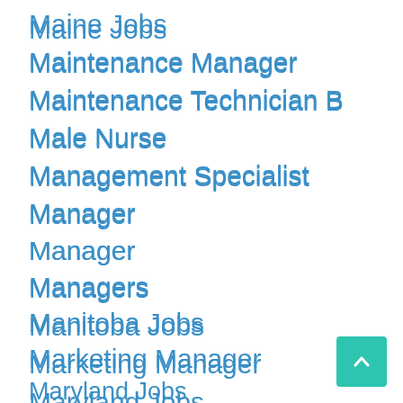Maine Jobs
Maintenance Manager
Maintenance Technician B
Male Nurse
Management Specialist
Manager
Manager
Managers
Manitoba Jobs
Marketing Manager
Maryland Jobs
Massachusetts Jobs
Massachusetts Jobs